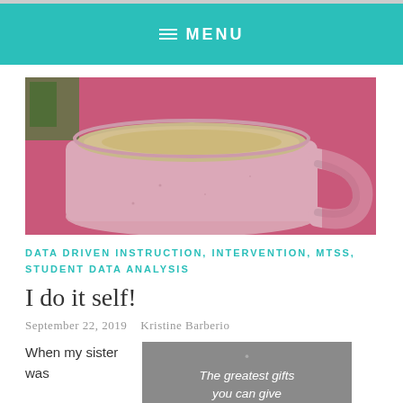≡ MENU
[Figure (photo): Close-up photo of a pink ceramic coffee mug filled with light coffee/latte, with pink fabric in the background and some green plants visible.]
DATA DRIVEN INSTRUCTION, INTERVENTION, MTSS, STUDENT DATA ANALYSIS
I do it self!
September 22, 2019   Kristine Barberio
When my sister was
[Figure (illustration): Gray background image with white handwritten text reading: The greatest gifts you can give]